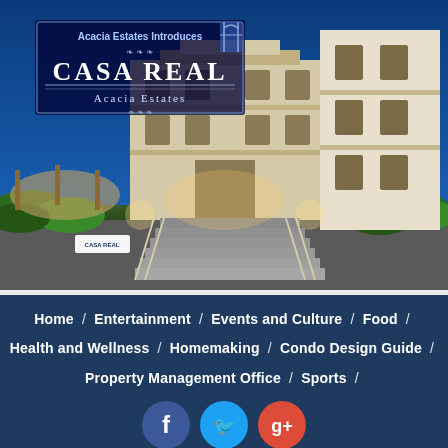[Figure (photo): Nighttime photo of Casa Real at Acacia Estates luxury residential building with grand staircase, lit facade, and lush landscaping. Header text reads 'Acacia Estates Introduces' with CASA REAL Acacia Estates logo overlay.]
Home / Entertainment / Events and Culture / Food / Health and Wellness / Homemaking / Condo Design Guide / Property Management Office / Sports /